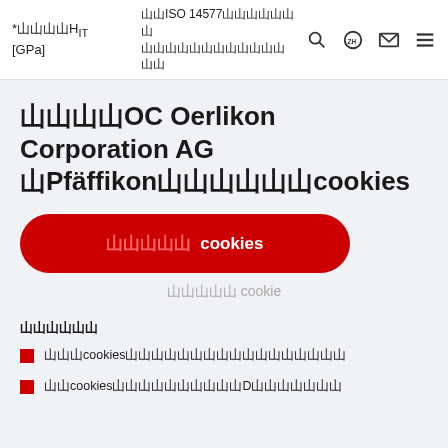*䶮䶮䶮䶮H IT [GPa]   䶮䶮ISO 14577䶮䶮䶮䶮䶮䶮䶮 䶮䶮䶮䶮䶮䶮䶮䶮䶮䶮䶮䶮䶮䶮
䶮䶮䶮䶮OC Oerlikon Corporation AG 䶮Pfäffikon䶮䶮䶮䶮䶮䶮cookies
䶮䶮䶮䶮䶮 cookies
䶮䶮䶮䶮䶮 cookie
䶮䶮䶮䶮䶮䶮
䶮䶮䶮cookies䶮䶮䶮䶮䶮䶮䶮䶮䶮䶮䶮䶮䶮䶮䶮䶮䶮
䶮䶮cookies䶮䶮䶮䶮䶮䶮䶮䶮䶮䶮D䶮䶮䶮䶮䶮䶮䶮